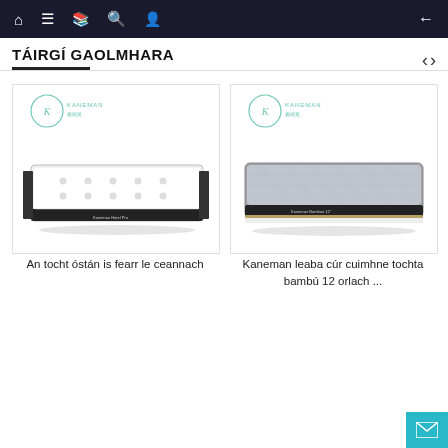Navigation bar with home, menu, book, search, user icons and back arrow
TÁIRGÍ GAOLMHARA
[Figure (photo): Kaneman brand hotel mattress with white pillow-top and dark border, product photo on white background]
An tocht óstán is fearr le ceannach
[Figure (photo): Kaneman brand memory foam bamboo mattress 12 inch, grey fabric surface, dark border, product photo on white background]
Kaneman leaba cúr cuimhne tochta bambú 12 orlach ...